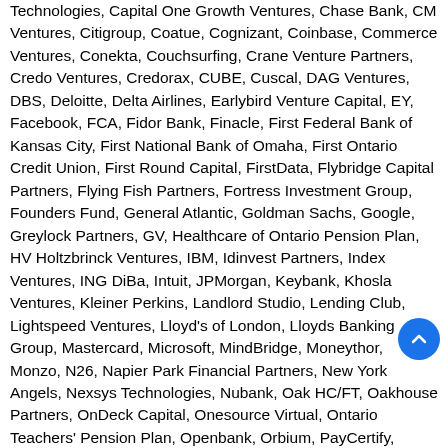Technologies, Capital One Growth Ventures, Chase Bank, CM Ventures, Citigroup, Coatue, Cognizant, Coinbase, Commerce Ventures, Conekta, Couchsurfing, Crane Venture Partners, Credo Ventures, Credorax, CUBE, Cuscal, DAG Ventures, DBS, Deloitte, Delta Airlines, Earlybird Venture Capital, EY, Facebook, FCA, Fidor Bank, Finacle, First Federal Bank of Kansas City, First National Bank of Omaha, First Ontario Credit Union, First Round Capital, FirstData, Flybridge Capital Partners, Flying Fish Partners, Fortress Investment Group, Founders Fund, General Atlantic, Goldman Sachs, Google, Greylock Partners, GV, Healthcare of Ontario Pension Plan, HV Holtzbrinck Ventures, IBM, Idinvest Partners, Index Ventures, ING DiBa, Intuit, JPMorgan, Keybank, Khosla Ventures, Kleiner Perkins, Landlord Studio, Lending Club, Lightspeed Ventures, Lloyd's of London, Lloyds Banking Group, Mastercard, Microsoft, MindBridge, Moneythor, Monzo, N26, Napier Park Financial Partners, New York Angels, Nexsys Technologies, Nubank, Oak HC/FT, Oakhouse Partners, OnDeck Capital, Onesource Virtual, Ontario Teachers' Pension Plan, Openbank, Orbium, PayCertify, Postbank, Prestige Financial Services, Propel